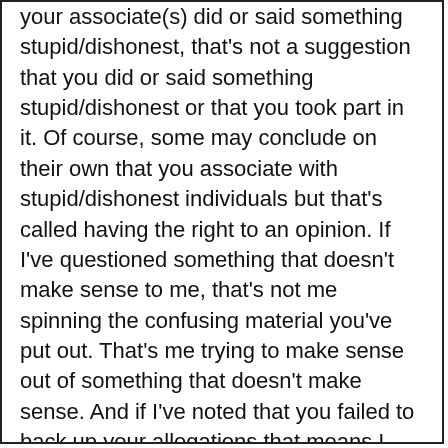your associate(s) did or said something stupid/dishonest, that's not a suggestion that you did or said something stupid/dishonest or that you took part in it. Of course, some may conclude on their own that you associate with stupid/dishonest individuals but that's called having the right to an opinion. If I've questioned something that doesn't make sense to me, that's not me spinning the confusing material you've put out. That's me trying to make sense out of something that doesn't make sense. And if I've noted that you failed to back up your allegations that means I either missed where you posted it or you failed to back your shiz up.
If I haven't specifically stated that I believe (my opinion) someone is associated with someone